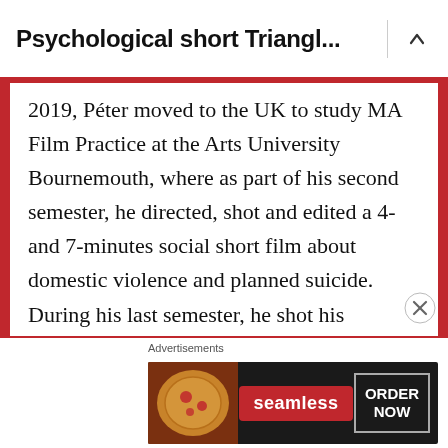Psychological short Triangl...
2019, Péter moved to the UK to study MA Film Practice at the Arts University Bournemouth, where as part of his second semester, he directed, shot and edited a 4-and 7-minutes social short film about domestic violence and planned suicide. During his last semester, he shot his graduation film Triangle, a drama about the dark realms of the human mind. Triangle was shortlisted for the 2021 BAFTA Student Film Awards and is now currently qualified for BIFA and the Student Academy Awards.
Advertisements
[Figure (photo): Seamless food delivery advertisement banner showing pizza with Seamless logo and ORDER NOW button]